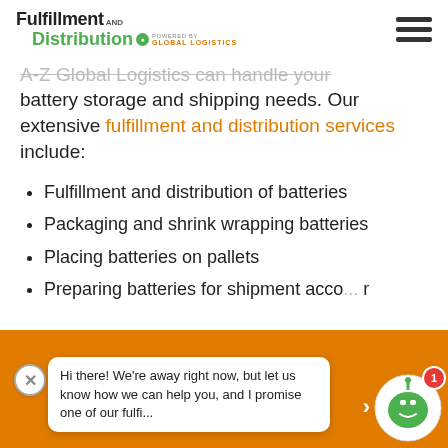Fulfillment and Distribution – Powered by Global Logistics
A-Z Global Logistics can handle your battery storage and shipping needs. Our extensive fulfillment and distribution services include:
Fulfillment and distribution of batteries
Packaging and shrink wrapping batteries
Placing batteries on pallets
Preparing batteries for shipment acco... r
Hi there! We're away right now, but let us know how we can help you, and I promise one of our fulfi...